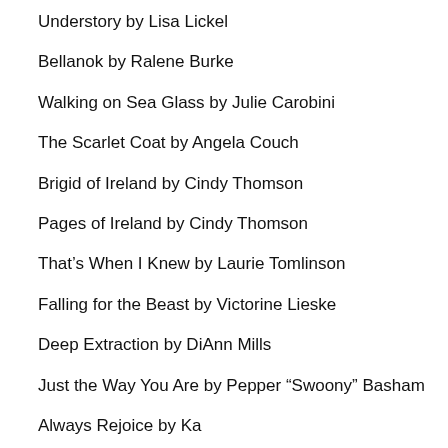Understory by Lisa Lickel
Bellanok by Ralene Burke
Walking on Sea Glass by Julie Carobini
The Scarlet Coat by Angela Couch
Brigid of Ireland by Cindy Thomson
Pages of Ireland by Cindy Thomson
That's When I Knew by Laurie Tomlinson
Falling for the Beast by Victorine Lieske
Deep Extraction by DiAnn Mills
Just the Way You Are by Pepper “Swoony” Basham
Always Rejoice by...